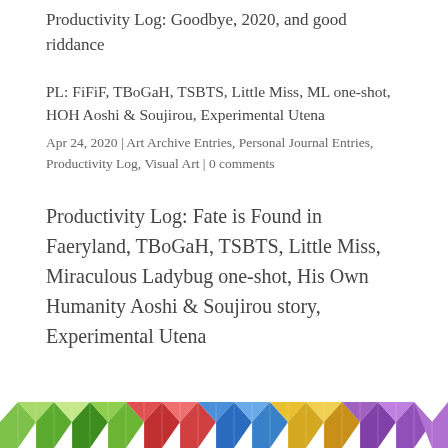Productivity Log: Goodbye, 2020, and good riddance
PL: FiFiF, TBoGaH, TSBTS, Little Miss, ML one-shot, HOH Aoshi & Soujirou, Experimental Utena
Apr 24, 2020 | Art Archive Entries, Personal Journal Entries, Productivity Log, Visual Art | 0 comments
Productivity Log: Fate is Found in Faeryland, TBoGaH, TSBTS, Little Miss, Miraculous Ladybug one-shot, His Own Humanity Aoshi & Soujirou story, Experimental Utena
[Figure (illustration): Colorful mosaic/stained-glass pattern with geometric triangular shapes in multiple colors including green, red, blue, yellow, and purple, partially visible at the bottom of the page.]